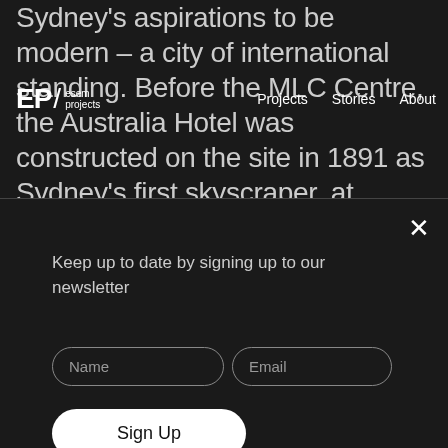Sydney's aspirations to be modern – a city of international standing. Before the MLC Centre, the Australia Hotel was constructed on the site in 1891 as Sydney's first skyscraper, at seven stories in height, while the tiny Rowe Street running between Castlereagh and Pitt Streets
EP / esem projects   Projects   Stories   About
Keep up to date by signing up to our newsletter
Name   Email
Sign Up